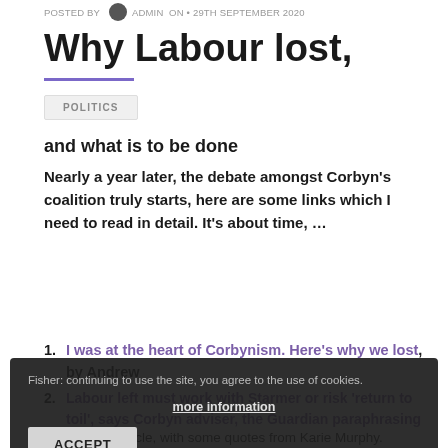POSTED BY  ADMIN  ON  29TH SEPTEMBER 2020
Why Labour lost,
POLITICS
and what is to be done
Nearly a year later, the debate amongst Corbyn's coalition truly starts, here are some links which I need to read in detail. It's about time, …
1. I was at the heart of Corbynism. Here's why we lost, by Andrew Fisher
2. Labour left must work with Starmer or risk 'return to toil', says Corbyn adviser, the Guardian paraphrasing Andrew Fisher's article, with some quotes from Karie Murphy.